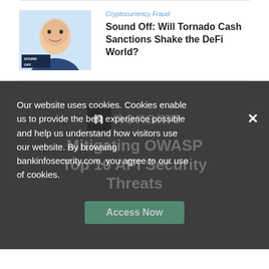[Figure (photo): Thumbnail image of a bald man smiling, with 'SOUND OFF' text overlay in bottom left corner]
Cryptocurrency Fraud
Sound Off: Will Tornado Cash Sanctions Shake the DeFi World?
Our website uses cookies. Cookies enable us to provide the best experience possible and help us understand how visitors use our website. By browsing bankinfosecurity.com, you agree to our use of cookies.
[Figure (logo): Noname logo with dark square icon and 'noname' text]
Mitigating OWASP Top 10 API Security Threats
Access Now